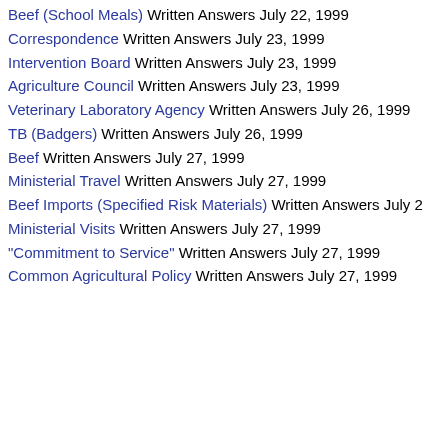Beef (School Meals) Written Answers July 22, 1999
Correspondence Written Answers July 23, 1999
Intervention Board Written Answers July 23, 1999
Agriculture Council Written Answers July 23, 1999
Veterinary Laboratory Agency Written Answers July 26, 1999
TB (Badgers) Written Answers July 26, 1999
Beef Written Answers July 27, 1999
Ministerial Travel Written Answers July 27, 1999
Beef Imports (Specified Risk Materials) Written Answers July 2
Ministerial Visits Written Answers July 27, 1999
"Commitment to Service" Written Answers July 27, 1999
Common Agricultural Policy Written Answers July 27, 1999